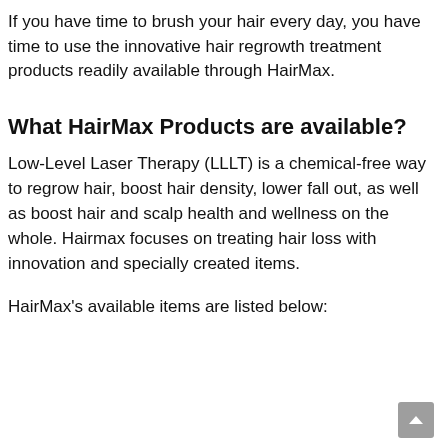If you have time to brush your hair every day, you have time to use the innovative hair regrowth treatment products readily available through HairMax.
What HairMax Products are available?
Low-Level Laser Therapy (LLLT) is a chemical-free way to regrow hair, boost hair density, lower fall out, as well as boost hair and scalp health and wellness on the whole. Hairmax focuses on treating hair loss with innovation and specially created items.
HairMax's available items are listed below: